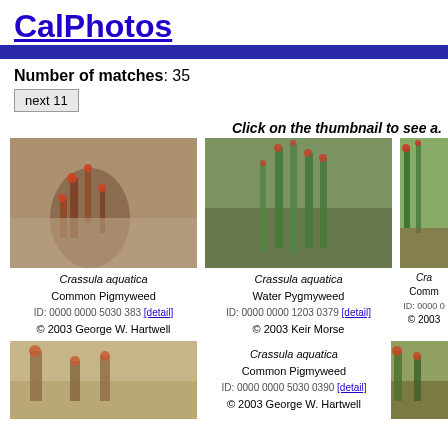CalPhotos
Number of matches: 35
next 11
Click on the thumbnail to see a.
[Figure (photo): Photo of Crassula aquatica plant on rocky surface]
Crassula aquatica
Common Pigmyweed
ID: 0000 0000 5030 383 [detail]
© 2003 George W. Hartwell
[Figure (photo): Photo of Crassula aquatica green plant stems]
Crassula aquatica
Water Pygmyweed
ID: 0000 0000 1203 0379 [detail]
© 2003 Keir Morse
[Figure (photo): Photo of Crassula aquatica partial view]
Cra...
Comm...
ID: 0000 0...
© 2003
[Figure (photo): Photo of Crassula aquatica bottom left]
Crassula aquatica
Common Pigmyweed
ID: 0000 0000 5030 0390 [detail]
© 2003 George W. Hartwell
[Figure (photo): Photo of Crassula aquatica bottom right]